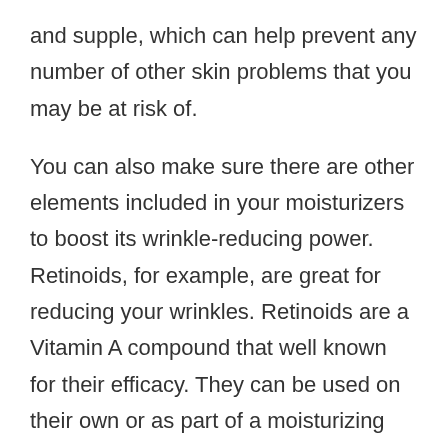and supple, which can help prevent any number of other skin problems that you may be at risk of.
You can also make sure there are other elements included in your moisturizers to boost its wrinkle-reducing power. Retinoids, for example, are great for reducing your wrinkles. Retinoids are a Vitamin A compound that well known for their efficacy. They can be used on their own or as part of a moisturizing routine.
There are other elements that you might want to